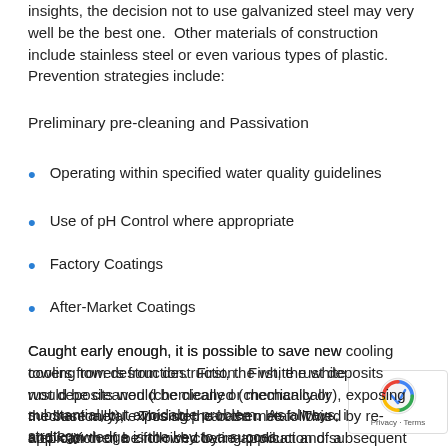insights, the decision not to use galvanized steel may very well be the best one.  Other materials of construction include stainless steel or even various types of plastic.  Prevention strategies include:
Preliminary pre-cleaning and Passivation
Operating within specified water quality guidelines
Use of pH Control where appropriate
Factory Coatings
After-Market Coatings
Caught early enough, it is possible to save new cooling towers from destruction.  First, the white rust deposits would be cleaned (chemically or mechanically), exposing the base metal.  This step can then be followed by re-application of a zinc-rich coating product and subsequent tight control of water chemistry.  This is a substantial, but avoidable problem.  As always, information and knowledge is the key to a successful strategy.